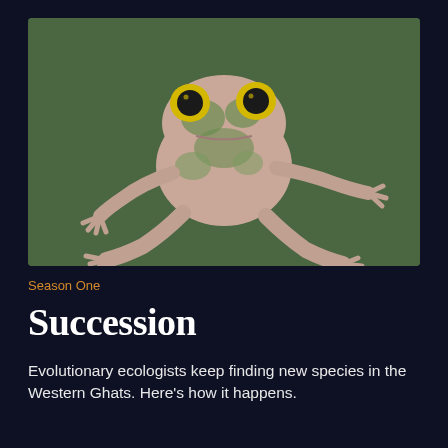[Figure (illustration): Illustration of a green and pink/beige tree frog facing the viewer, with large yellow eyes with black pupils, green spots on its back, and splayed webbed feet, displayed on a dark forest green background.]
Season One
Succession
Evolutionary ecologists keep finding new species in the Western Ghats. Here's how it happens.